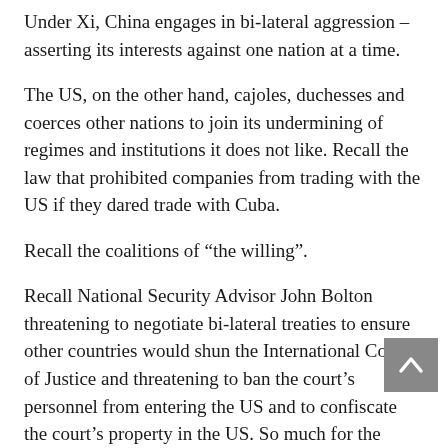Under Xi, China engages in bi-lateral aggression – asserting its interests against one nation at a time.
The US, on the other hand, cajoles, duchesses and coerces other nations to join its undermining of regimes and institutions it does not like. Recall the law that prohibited companies from trading with the US if they dared trade with Cuba.
Recall the coalitions of “the willing”.
Recall National Security Advisor John Bolton threatening to negotiate bi-lateral treaties to ensure other countries would shun the International Court of Justice and threatening to ban the court’s personnel from entering the US and to confiscate the court’s property in the US. So much for the international r—based system.
True, the US is still (we hope) a democracy in which Administrations can be tossed out by voters, and